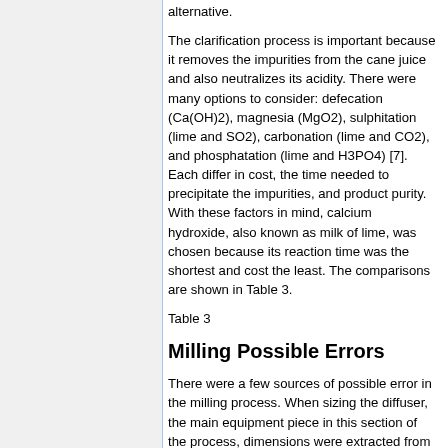alternative.
The clarification process is important because it removes the impurities from the cane juice and also neutralizes its acidity. There were many options to consider: defecation (Ca(OH)2), magnesia (MgO2), sulphitation (lime and SO2), carbonation (lime and CO2), and phosphatation (lime and H3PO4) [7]. Each differ in cost, the time needed to precipitate the impurities, and product purity. With these factors in mind, calcium hydroxide, also known as milk of lime, was chosen because its reaction time was the shortest and cost the least. The comparisons are shown in Table 3.
Table 3
Milling Possible Errors
There were a few sources of possible error in the milling process. When sizing the diffuser, the main equipment piece in this section of the process, dimensions were extracted from existing diffuser models